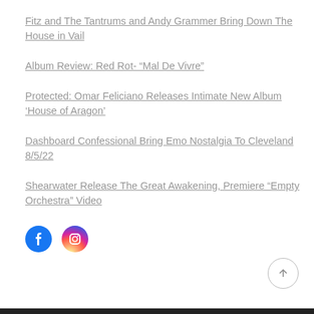Fitz and The Tantrums and Andy Grammer Bring Down The House in Vail
Album Review: Red Rot- “Mal De Vivre”
Protected: Omar Feliciano Releases Intimate New Album ‘House of Aragon’
Dashboard Confessional Bring Emo Nostalgia To Cleveland 8/5/22
Shearwater Release The Great Awakening, Premiere “Empty Orchestra” Video
[Figure (logo): Facebook and Instagram social media icon buttons]
[Figure (other): Back to top arrow button circle]